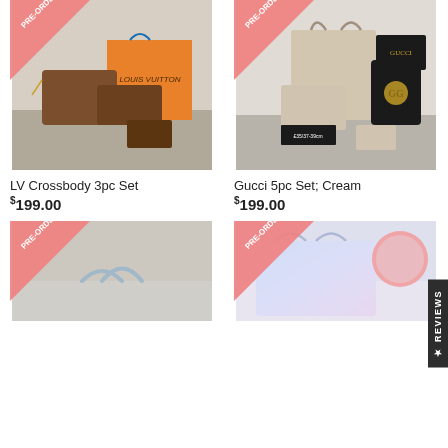[Figure (photo): LV Crossbody 3pc Set product photo with PRE-ORDER banner]
[Figure (photo): Gucci 5pc Set Cream product photo with PRE-ORDER banner]
LV Crossbody 3pc Set
$199.00
Gucci 5pc Set; Cream
$199.00
[Figure (photo): Bottom left product photo with PRE-ORDER banner (partially visible)]
[Figure (photo): Bottom right product photo with PRE-ORDER banner and pink circle overlay (partially visible)]